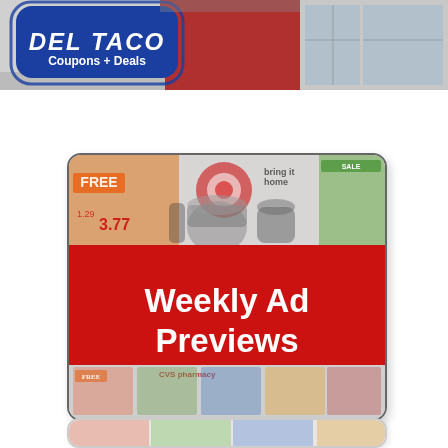[Figure (photo): Del Taco Coupons + Deals banner image showing a Del Taco store exterior with a blue badge overlay reading DEL TACO Coupons + Deals]
[Figure (photo): Weekly Ad Previews promotional image showing a collage of various store weekly ads (Target, CVS, etc.) with a red banner overlay reading 'Weekly Ad Previews']
[Figure (photo): Partial bottom card, another weekly ad preview image partially visible at the bottom of the page]